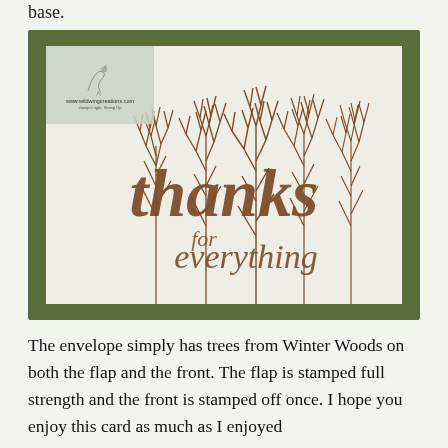base.
[Figure (photo): A handmade greeting card with a dark olive green border/base, featuring a white card panel stamped with bare winter trees and the text 'thanks for everything' in brown cursive lettering. A semi-transparent watermark overlay in the top-left corner shows a heron and the URL www.wildwingcreations.com]
The envelope simply has trees from Winter Woods on both the flap and the front. The flap is stamped full strength and the front is stamped off once. I hope you enjoy this card as much as I enjoyed